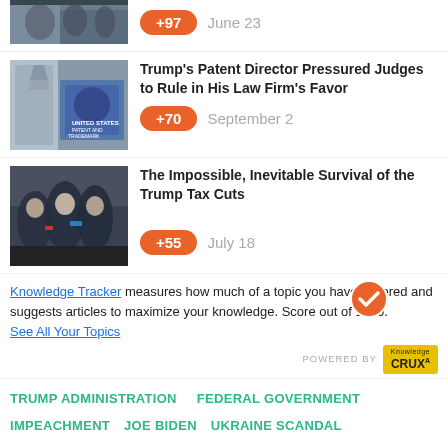[Figure (photo): Partial top thumbnail of people at a table]
+97  June 23
[Figure (photo): US Patent and Trademark Office building with sign]
Trump's Patent Director Pressured Judges to Rule in His Law Firm's Favor
+70  September 2
[Figure (photo): Group of politicians including Trump and Pence at tax cuts signing]
The Impossible, Inevitable Survival of the Trump Tax Cuts
+55  July 18
Knowledge Tracker measures how much of a topic you have covered and suggests articles to maximize your knowledge. Score out of 1000.
See All Your Topics
TRUMP ADMINISTRATION   FEDERAL GOVERNMENT
IMPEACHMENT   JOE BIDEN   UKRAINE SCANDAL